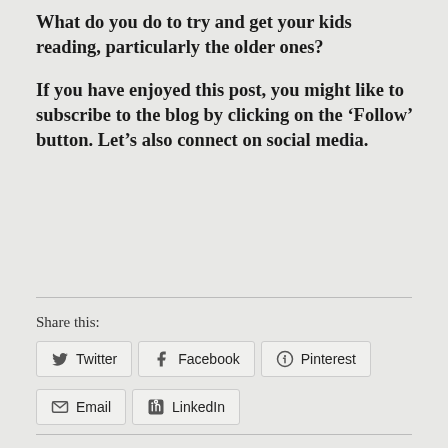What do you do to try and get your kids reading, particularly the older ones?
If you have enjoyed this post, you might like to subscribe to the blog by clicking on the ‘Follow’ button. Let’s also connect on social media.
Share this:
Twitter
Facebook
Pinterest
Email
LinkedIn